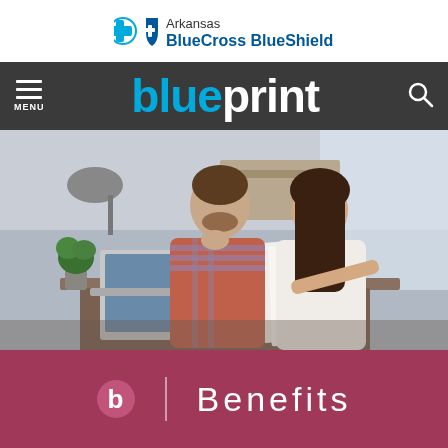[Figure (logo): Arkansas BlueCross BlueShield logo with blue cross and blue shield icons]
blueprint
[Figure (photo): A man and woman sitting at a desk looking at documents together, with a laptop open in front of them. Office/home setting with warm lighting.]
b | Benefits